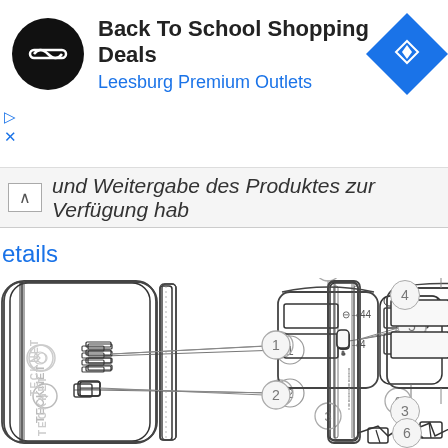[Figure (screenshot): Advertisement banner: Back To School Shopping Deals, Leesburg Premium Outlets, with black circular logo and blue navigation diamond icon]
und Weitergabe des Produktes zur Verfügung hab
etails
[Figure (engineering-diagram): TeckNet power bank product diagram showing labeled components: (1) LED indicator lights on side, (2) micro USB input port on side, (3) bottom of device, (4) top of device with two USB output ports labeled with charging icons (C→44 and C→4), (5) USB-C port on narrow side view, (6) cable connector at bottom]